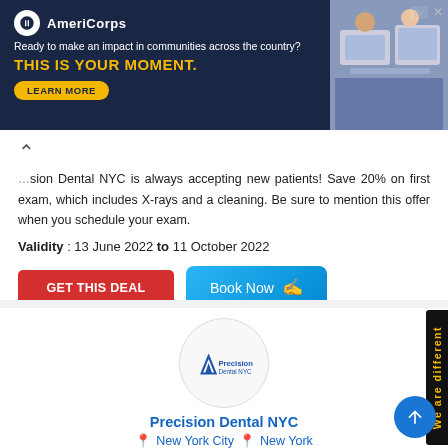[Figure (infographic): AmeriCorps advertisement banner with dark navy background. Logo, tagline 'Ready to make an impact in communities across the country?', headline 'THIS IS YOUR MOMENT.' with a gold LEARN MORE button. Right side shows a photo of people at computers.]
Precision Dental NYC is always accepting new patients! Save 20% on first exam, which includes X-rays and a cleaning. Be sure to mention this offer when you schedule your exam.
Validity : 13 June 2022 to 11 October 2022
GET THIS DEAL  Book Now
[Figure (logo): Precision Dental NYC logo inside a circular white badge]
Precision Dental NYC
New York City  New York